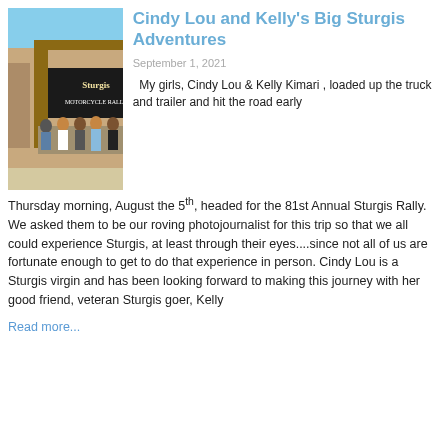[Figure (photo): Group of women posing in front of a Sturgis sign/arch outdoors on a sunny day]
Cindy Lou and Kelly's Big Sturgis Adventures
September 1, 2021
My girls, Cindy Lou & Kelly Kimari , loaded up the truck and trailer and hit the road early Thursday morning, August the 5th, headed for the 81st Annual Sturgis Rally. We asked them to be our roving photojournalist for this trip so that we all could experience Sturgis, at least through their eyes....since not all of us are fortunate enough to get to do that experience in person. Cindy Lou is a Sturgis virgin and has been looking forward to making this journey with her good friend, veteran Sturgis goer, Kelly
Read more...